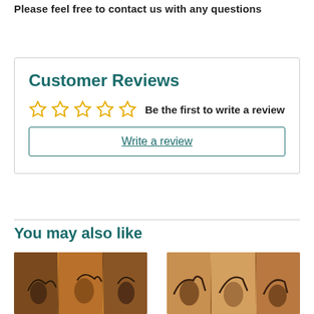Please feel free to contact us with any questions
Customer Reviews
☆☆☆☆☆  Be the first to write a review
Write a review
You may also like
[Figure (photo): Two product images showing cylindrical wooden items with dark animal silhouette designs, shown in groups of three panels each side by side]